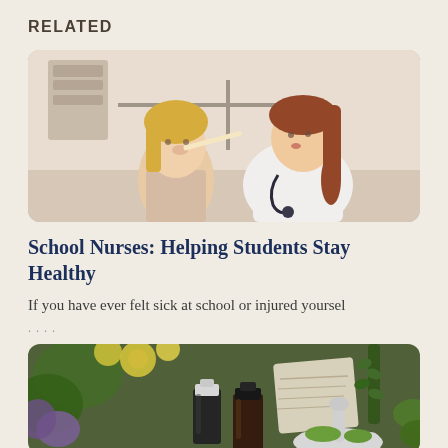RELATED
[Figure (photo): A female doctor/nurse examining a young girl's throat with a tongue depressor. The child has blonde hair and the nurse has red hair tied back, wearing a white coat with a stethoscope.]
School Nurses: Helping Students Stay Healthy
If you have ever felt sick at school or injured yoursel
[Figure (photo): Close-up of herbal medicine items: small dark amber essential oil bottles, dried chamomile flowers, lavender, rosemary sprigs, and a white mortar and pestle with green herb leaves.]